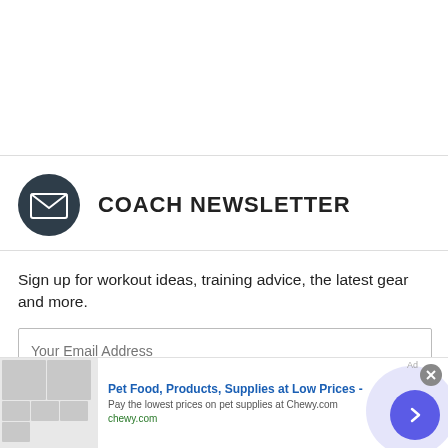[Figure (illustration): Blank white space at the top of the page, above a horizontal divider line]
COACH NEWSLETTER
Sign up for workout ideas, training advice, the latest gear and more.
[Figure (screenshot): Email input field with placeholder text 'Your Email Address']
Contact me with news and offers from other Future brands
[Figure (other): Advertisement banner for Chewy.com: Pet Food, Products, Supplies at Low Prices - Pay the lowest prices on pet supplies at Chewy.com]